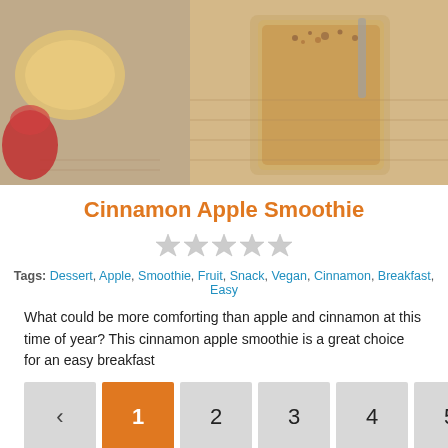[Figure (photo): Photo of a cinnamon apple smoothie in a glass, with apple slices and cinnamon on a white wooden surface]
Cinnamon Apple Smoothie
[Figure (other): Five empty/unselected star rating icons]
Tags: Dessert, Apple, Smoothie, Fruit, Snack, Vegan, Cinnamon, Breakfast, Easy
What could be more comforting than apple and cinnamon at this time of year? This cinnamon apple smoothie is a great choice for an easy breakfast
< 1 2 3 4 5 6 7 8 9 10 11 >